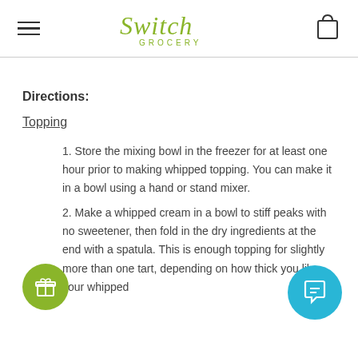Switch Grocery
Directions:
Topping
1. Store the mixing bowl in the freezer for at least one hour prior to making whipped topping. You can make it in a bowl using a hand or stand mixer.
2. Make a whipped cream in a bowl to stiff peaks with no sweetener, then fold in the dry ingredients at the end with a spatula. This is enough topping for slightly more than one tart, depending on how thick you like your whipped